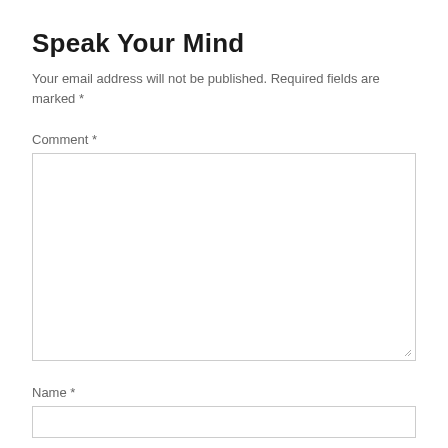Speak Your Mind
Your email address will not be published. Required fields are marked *
Comment *
[Figure (other): Comment text area input box with resize handle at bottom-right]
Name *
[Figure (other): Name text input box]